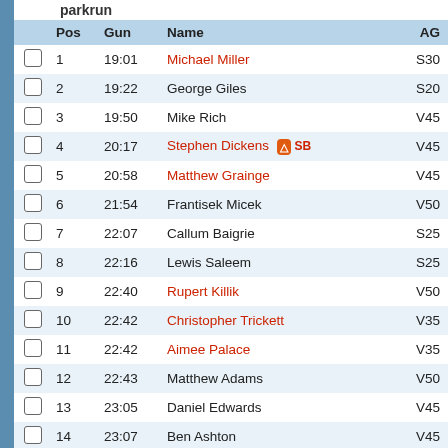parkrun
|  | Pos | Gun | Name | AG |
| --- | --- | --- | --- | --- |
|  | 1 | 19:01 | Michael Miller | S30 |
|  | 2 | 19:22 | George Giles | S20 |
|  | 3 | 19:50 | Mike Rich | V45 |
|  | 4 | 20:17 | Stephen Dickens [SB] | V45 |
|  | 5 | 20:58 | Matthew Grainge | V45 |
|  | 6 | 21:54 | Frantisek Micek | V50 |
|  | 7 | 22:07 | Callum Baigrie | S25 |
|  | 8 | 22:16 | Lewis Saleem | S25 |
|  | 9 | 22:40 | Rupert Killik | V50 |
|  | 10 | 22:42 | Christopher Trickett | V35 |
|  | 11 | 22:42 | Aimee Palace | V35 |
|  | 12 | 22:43 | Matthew Adams | V50 |
|  | 13 | 23:05 | Daniel Edwards | V45 |
|  | 14 | 23:07 | Ben Ashton | V45 |
|  | 15 | 23:22 | Douglas Williamson | S20 |
|  | 16 | 23:27 | Chris Jekiel | V50 |
|  | 17 | 23:28 | Gary Fox [SB] | V50 |
|  | 18 | 23:32 | Martin Pikett | S25 |